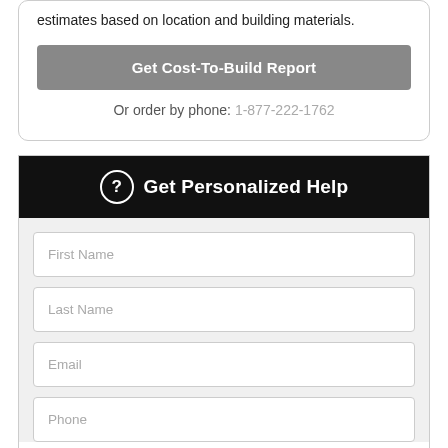estimates based on location and building materials.
Get Cost-To-Build Report
Or order by phone: 1-877-222-1762
Get Personalized Help
First Name
Last Name
Email
Phone